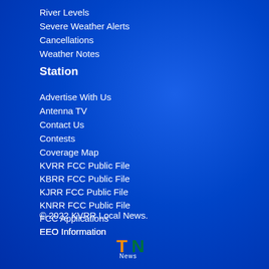River Levels
Severe Weather Alerts
Cancellations
Weather Notes
Station
Advertise With Us
Antenna TV
Contact Us
Contests
Coverage Map
KVRR FCC Public File
KBRR FCC Public File
KJRR FCC Public File
KNRR FCC Public File
FCC Applications
EEO Information
KVRR Careers
Meet The KVRR Team
Privacy Policy
Schedule
Terms of Use
© 2022 KVRR Local News.
[Figure (logo): TN News logo with orange T, green N, and white News text]